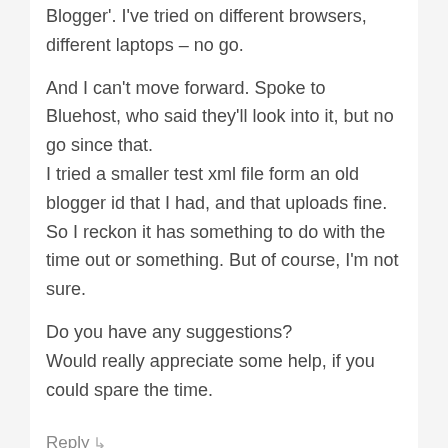Blogger'. I've tried on different browsers, different laptops – no go.
And I can't move forward. Spoke to Bluehost, who said they'll look into it, but no go since that.
I tried a smaller test xml file form an old blogger id that I had, and that uploads fine. So I reckon it has something to do with the time out or something. But of course, I'm not sure.
Do you have any suggestions?
Would really appreciate some help, if you could spare the time.
Reply ↳